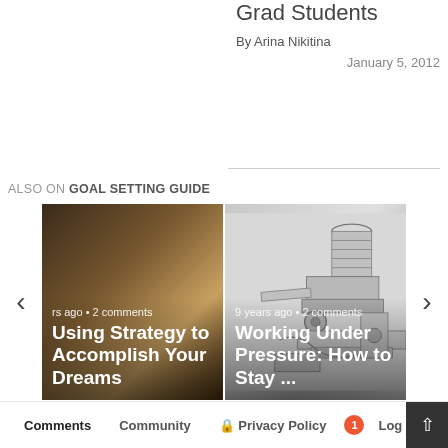Grad Students
By Arina Nikitina
January 5, 2012
ALSO ON GOAL SETTING GUIDE
[Figure (photo): Close-up warm-toned photo of fingers on a surface, used as card background for 'Using Strategy to Accomplish Your Dreams']
rs ago • 2 comments
Using Strategy to Accomplish Your Dreams
[Figure (illustration): Black and white sketch/illustration of mechanical parts under pressure, used as card background for 'Working Under Pressure: How to Stay ...']
9 years ago • 2 comments
Working Under Pressure: How to Stay ...
Comments   Community   Privacy Policy   1   Log